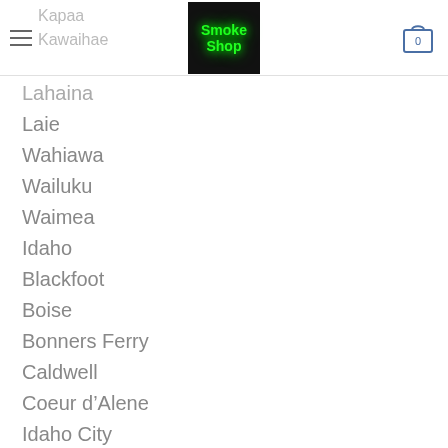Smoke Shop - Navigation menu with cart icon
Kapaa
Kawaihae
Lahaina
Laie
Wahiawa
Wailuku
Waimea
Idaho
Blackfoot
Boise
Bonners Ferry
Caldwell
Coeur d’Alene
Idaho City
Idaho Falls
Kellogg
Lewiston